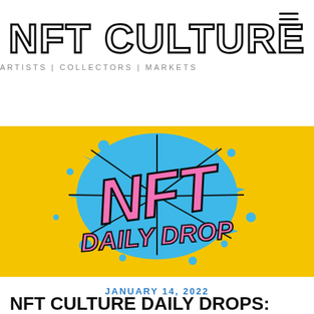NFT CULTURE
ARTISTS | COLLECTORS | MARKETS
[Figure (illustration): Yellow background banner with comic-style 'NFT DAILY DROP' text in pink with blue ink splatter effect]
JANUARY 14, 2022
NFT CULTURE DAILY DROPS: